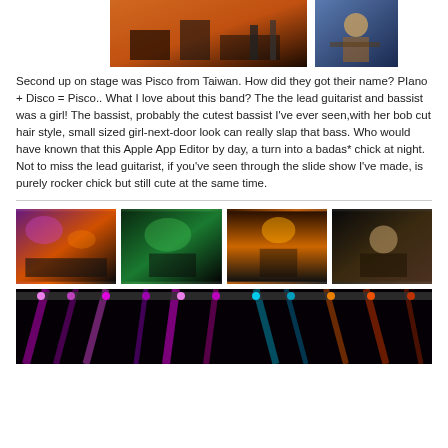[Figure (photo): Stage setup photo with orange background, equipment visible, and a smaller photo of a guitarist on the right]
Second up on stage was Pisco from Taiwan. How did they got their name? PIano + Disco = Pisco.. What I love about this band? The the lead guitarist and bassist was a girl! The bassist, probably the cutest bassist I've ever seen,with her bob cut hair style, small sized girl-next-door look can really slap that bass. Who would have known that this Apple App Editor by day, a turn into a badas* chick at night. Not to miss the lead guitarist, if you've seen through the slide show I've made, is purely rocker chick but still cute at the same time.
[Figure (photo): Four concert photos in a row showing band performing on stage with colorful stage lighting]
[Figure (photo): Wide concert photo showing stage lights - purple, magenta, cyan, and orange lights on rigging]